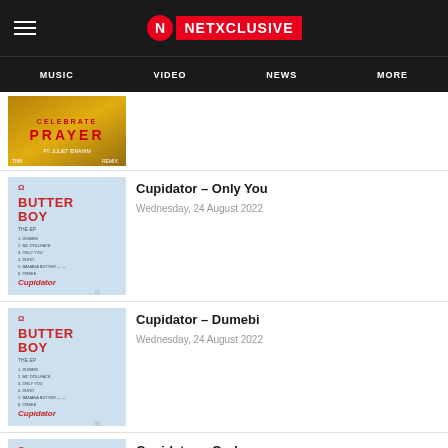NETXCLUSIVE
MUSIC  VIDEO  NEWS  MORE
[Figure (photo): Album art with golden background and 'PRAYER' text]
[Figure (illustration): Butter Boy EP album cover - blue background with artist figure and red text]
Cupidator – Only You
Wednesday, 24 August 2022
[Figure (illustration): Butter Boy EP album cover - blue background with artist figure and red text]
Cupidator – Dumebi
Wednesday, 24 August 2022
[Figure (illustration): Butter Boy EP album cover - blue background with artist figure and red text]
Cupidator – Oreke
Wednesday, 24 August 2022